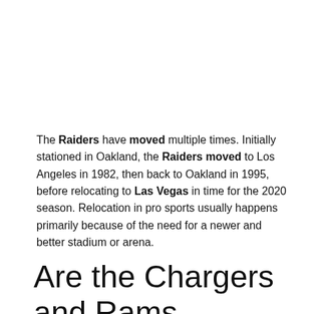The Raiders have moved multiple times. Initially stationed in Oakland, the Raiders moved to Los Angeles in 1982, then back to Oakland in 1995, before relocating to Las Vegas in time for the 2020 season. Relocation in pro sports usually happens primarily because of the need for a newer and better stadium or arena.
Are the Chargers and Rams sharing a stadium?
With Kroenke developing and bankrolling the project, the Rams will be the stadium's primary tenant, although the